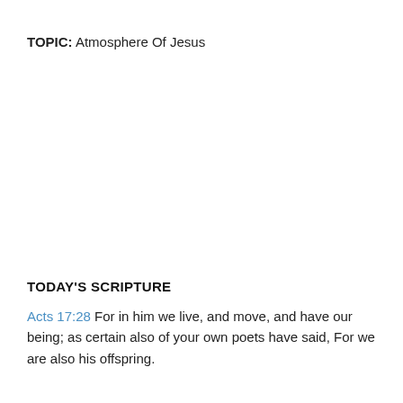TOPIC: Atmosphere Of Jesus
TODAY'S SCRIPTURE
Acts 17:28 For in him we live, and move, and have our being; as certain also of your own poets have said, For we are also his offspring.